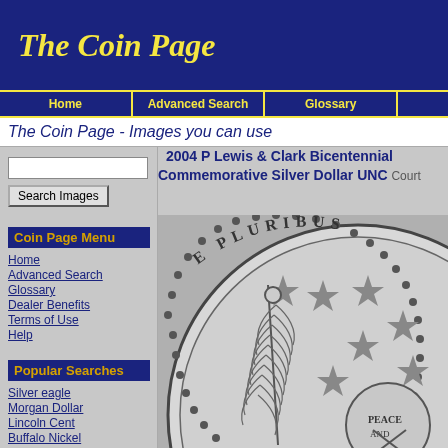The Coin Page
Home | Advanced Search | Glossary
The Coin Page - Images you can use
2004 P Lewis & Clark Bicentennial Commemorative Silver Dollar UNC Cour...
Home
Advanced Search
Glossary
Dealer Benefits
Terms of Use
Help
Popular Searches
Silver eagle
Morgan Dollar
Lincoln Cent
Buffalo Nickel
Mercury Dime
State Quarter
Commemorative Half
Gold Eagle
Roosevelt Dime
[Figure (photo): Close-up photo of the 2004 P Lewis & Clark Bicentennial Commemorative Silver Dollar UNC coin, showing the reverse with E PLURIBUS inscription, stars, feather, and PEACE AND... text, in grayscale.]